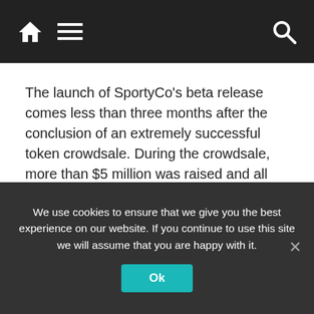Navigation bar with home icon, menu icon, and search icon
The launch of SportyCo’s beta release comes less than three months after the conclusion of an extremely successful token crowdsale. During the crowdsale, more than $5 million was raised and all told, more than 70 million SPF tokens were distributed to crowdsale participants, ambassadors, and the SportyCo team. It should be noted that the team’s tokens are vested (locked) for a period of one year.
SportyCo is excited to have garnered the support of several prominent professional athletes, including
We use cookies to ensure that we give you the best experience on our website. If you continue to use this site we will assume that you are happy with it.